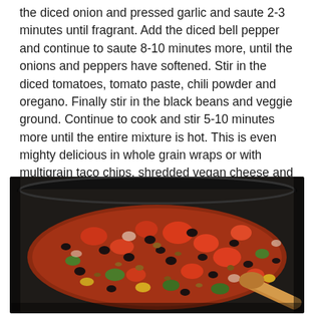the diced onion and pressed garlic and saute 2-3 minutes until fragrant. Add the diced bell pepper and continue to saute 8-10 minutes more, until the onions and peppers have softened. Stir in the diced tomatoes, tomato paste, chili powder and oregano. Finally stir in the black beans and veggie ground. Continue to cook and stir 5-10 minutes more until the entire mixture is hot. This is even mighty delicious in whole grain wraps or with multigrain taco chips, shredded vegan cheese and romaine lettuce for a taco salad feel.
[Figure (photo): A black skillet filled with a colorful mixture of black beans, diced red tomatoes, green bell pepper, yellow pepper, and veggie ground, being stirred with a wooden spoon.]